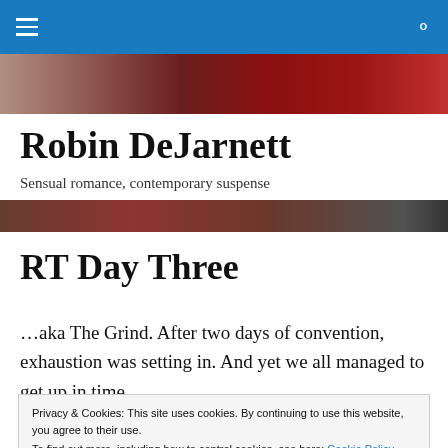Robin DeJarnett — Sensual romance, contemporary suspense
Robin DeJarnett
Sensual romance, contemporary suspense
RT Day Three
…aka The Grind. After two days of convention, exhaustion was setting in. And yet we all managed to get up in time
Privacy & Cookies: This site uses cookies. By continuing to use this website, you agree to their use.
To find out more, including how to control cookies, see here: Cookie Policy
[Close and accept]
Lisa's raffle win. She won a basket – well, collander – full